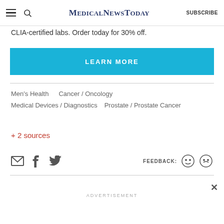MedicalNewsToday  SUBSCRIBE
CLIA-certified labs. Order today for 30% off.
LEARN MORE
Men's Health   Cancer / Oncology   Medical Devices / Diagnostics   Prostate / Prostate Cancer
+ 2 sources
FEEDBACK:
ADVERTISEMENT